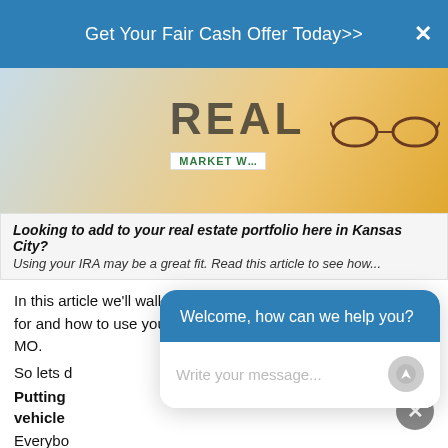Get Your Fair Cash Offer Today>>
[Figure (photo): Photo of real estate documents/newspaper and eyeglasses on an orange background, with text 'REAL' and 'MARKET W...' visible]
Looking to add to your real estate portfolio here in Kansas City? Using your IRA may be a great fit. Read this article to see how...
In this article we'll walk through some more things to look out for and how to use your IRA to buy real estate in Kansas City MO.
So lets d
Putting vehicle
Everybo